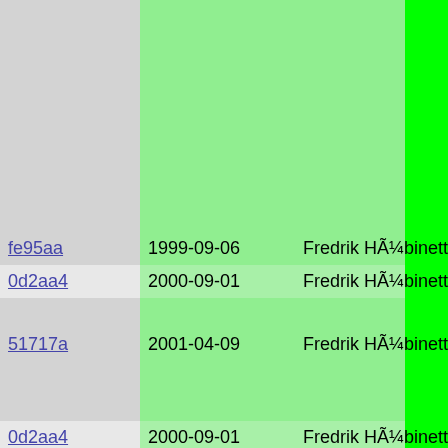| Hash | Date | Author |  |  |
| --- | --- | --- | --- | --- |
| fe95aa | 1999-09-06 | Fredrik HÃ¼binette (Hubbe) |  |  |
| 0d2aa4 | 2000-09-01 | Fredrik HÃ¼binette (Hubbe) |  |  |
| 51717a | 2001-04-09 | Fredrik HÃ¼binette (Hubbe) |  |  |
| 0d2aa4 | 2000-09-01 | Fredrik HÃ¼binette (Hubbe) |  |  |
| 51717a | 2001-04-09 | Fredrik HÃ¼binette (Hubbe) |  |  |